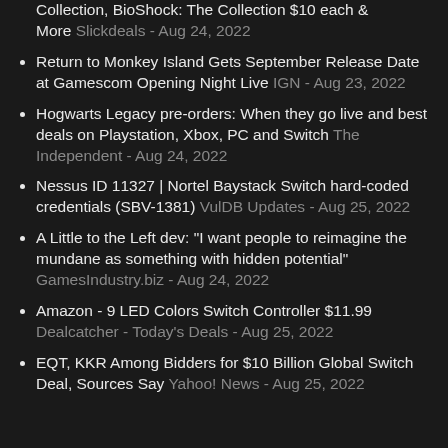Collection, BioShock: The Collection $10 each & More Slickdeals - Aug 24, 2022
Return to Monkey Island Gets September Release Date at Gamescom Opening Night Live IGN - Aug 23, 2022
Hogwarts Legacy pre-orders: When they go live and best deals on Playstation, Xbox, PC and Switch The Independent - Aug 24, 2022
Nessus ID 11327 | Nortel Baystack Switch hard-coded credentials (SBV-1381) VulDB Updates - Aug 25, 2022
A Little to the Left dev: "I want people to reimagine the mundane as something with hidden potential" GamesIndustry.biz - Aug 24, 2022
Amazon - 9 LED Colors Switch Controller $11.99 Dealcatcher - Today's Deals - Aug 25, 2022
EQT, KKR Among Bidders for $10 Billion Global Switch Deal, Sources Say Yahoo! News - Aug 25, 2022